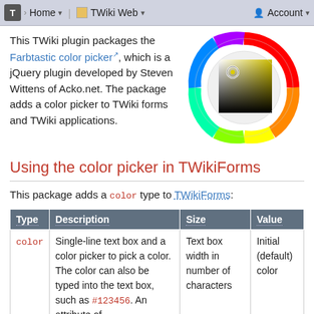Home | TWiki Web | Account
This TWiki plugin packages the Farbtastic color picker, which is a jQuery plugin developed by Steven Wittens of Acko.net. The package adds a color picker to TWiki forms and TWiki applications.
[Figure (illustration): Farbtastic color picker wheel showing a rainbow hue ring with a dark-to-light square gradient in the center and a small circle marker indicating a yellow-green selection.]
Using the color picker in TWikiForms
This package adds a color type to TWikiForms:
| Type | Description | Size | Value |
| --- | --- | --- | --- |
| color | Single-line text box and a color picker to pick a color. The color can also be typed into the text box, such as #123456. An attribute of type="popup" shows a | Text box width in number of characters | Initial (default) color |